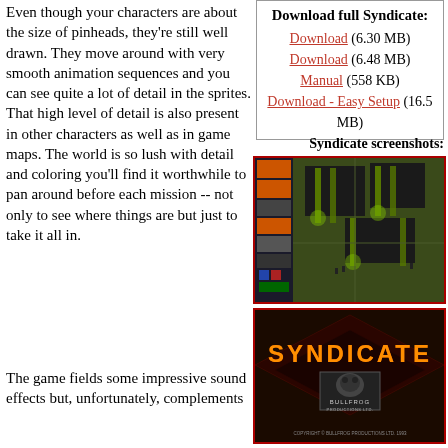Download full Syndicate:
Download (6.30 MB)
Download (6.48 MB)
Manual (558 KB)
Download - Easy Setup (16.5 MB)
Even though your characters are about the size of pinheads, they're still well drawn. They move around with very smooth animation sequences and you can see quite a lot of detail in the sprites. That high level of detail is also present in other characters as well as in game maps. The world is so lush with detail and coloring you'll find it worthwhile to pan around before each mission -- not only to see where things are but just to take it all in.
Syndicate screenshots:
[Figure (screenshot): Isometric view of Syndicate gameplay showing dark city environment with glowing green pillars, UI panel on left with orange elements, small agent figures on the map]
[Figure (screenshot): Syndicate title screen with large orange SYNDICATE text on dark background with diamond pattern, Bullfrog Productions Ltd. logo and copyright 1993]
The game fields some impressive sound effects but, unfortunately, complements